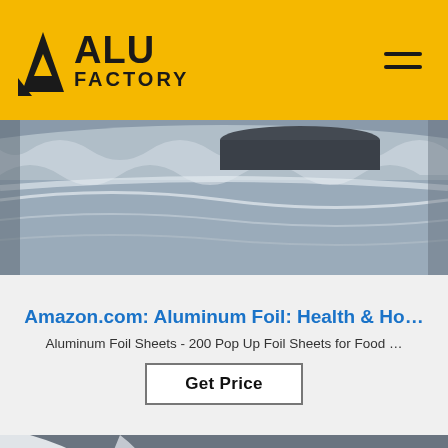ALU FACTORY
[Figure (photo): Close-up photo of shiny aluminum foil rolls, silver metallic surface with curved reflections]
Amazon.com: Aluminum Foil: Health & Ho…
Aluminum Foil Sheets - 200 Pop Up Foil Sheets for Food …
Get Price
[Figure (photo): Photo of aluminum foil roll manufacturing, showing a large roll with black plastic wrap partially removed, with a blue TOP watermark in the corner]